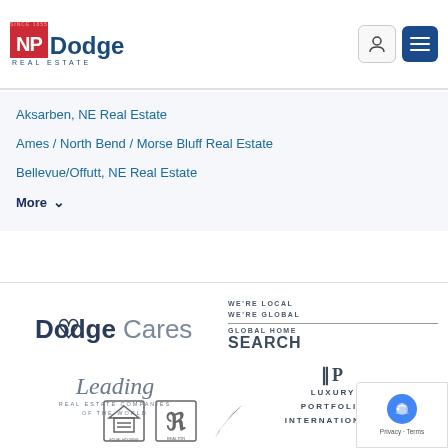[Figure (logo): NP Dodge Real Estate logo with red NP block and blue Dodge text, 'Since 1855' above, 'Real Estate' below]
[Figure (logo): User account icon button and blue hamburger menu button in header]
Aksarben, NE Real Estate
Ames / North Bend / Morse Bluff Real Estate
Bellevue/Offutt, NE Real Estate
More ∨
[Figure (logo): DodgeCares logo in dark gray sans-serif]
[Figure (logo): We're Local We're Global / Global Home Search logo]
[Figure (logo): Leading Real Estate Companies of the World logo]
[Figure (logo): Luxury Portfolio International logo with LP symbol]
[Figure (logo): Equal Housing Opportunity, Realtor, and organization logos at bottom]
[Figure (logo): Google reCAPTCHA badge with Privacy and Terms links]